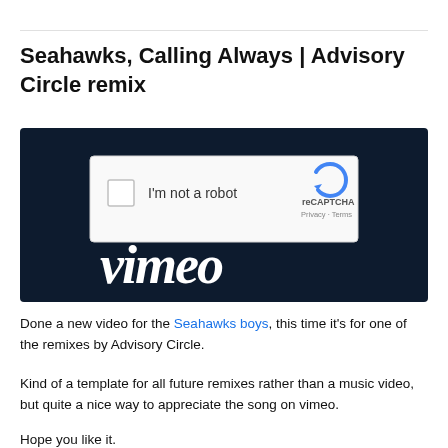Seahawks, Calling Always | Advisory Circle remix
[Figure (screenshot): A screenshot showing a Vimeo page with a reCAPTCHA 'I'm not a robot' dialog overlaid on a dark navy background with the Vimeo logo in white cursive text below.]
Done a new video for the Seahawks boys, this time it's for one of the remixes by Advisory Circle.
Kind of a template for all future remixes rather than a music video, but quite a nice way to appreciate the song on vimeo.
Hope you like it.